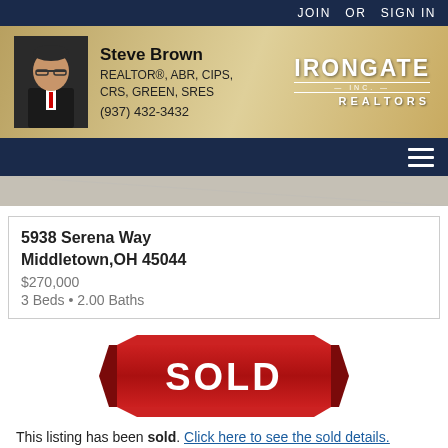JOIN  OR  SIGN IN
[Figure (photo): Agent banner with photo of Steve Brown in suit with red tie, and Irongate Inc. Realtors logo on right, wooden ceiling background]
Steve Brown
REALTOR®, ABR, CIPS, CRS, GREEN, SRES
(937) 432-3432
[Figure (screenshot): Navigation bar with hamburger menu icon]
[Figure (photo): Partial interior photo strip]
5938 Serena Way
Middletown,OH 45044
$270,000
3 Beds • 2.00 Baths
[Figure (infographic): Red ribbon SOLD banner graphic with white bold text SOLD]
This listing has been sold. Click here to see the sold details.
[Figure (photo): Bottom partial property image strip]